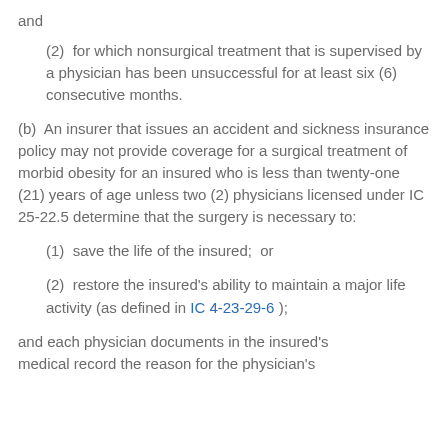and
(2)  for which nonsurgical treatment that is supervised by a physician has been unsuccessful for at least six (6) consecutive months.
(b)  An insurer that issues an accident and sickness insurance policy may not provide coverage for a surgical treatment of morbid obesity for an insured who is less than twenty-one (21) years of age unless two (2) physicians licensed under IC 25-22.5 determine that the surgery is necessary to:
(1)  save the life of the insured;  or
(2)  restore the insured's ability to maintain a major life activity (as defined in IC 4-23-29-6 );
and each physician documents in the insured's medical record the reason for the physician's